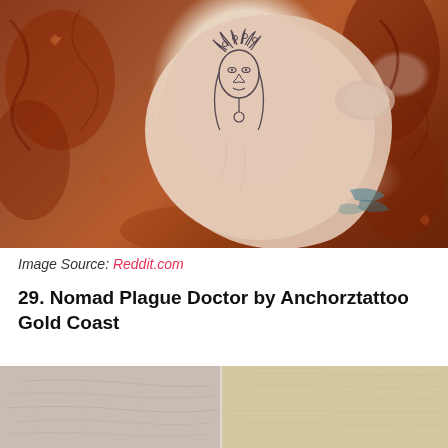[Figure (photo): A close-up photo of a foot/ankle resting on red-orange patterned fabric. A minimalist line-art tattoo of a face with a floral crown and dangling earring is visible on the ankle.]
Image Source: Reddit.com
29. Nomad Plague Doctor by Anchorztattoo Gold Coast
[Figure (photo): A cropped photo showing skin/arm area with light texture, partially visible at the bottom of the page, before and after comparison implied.]